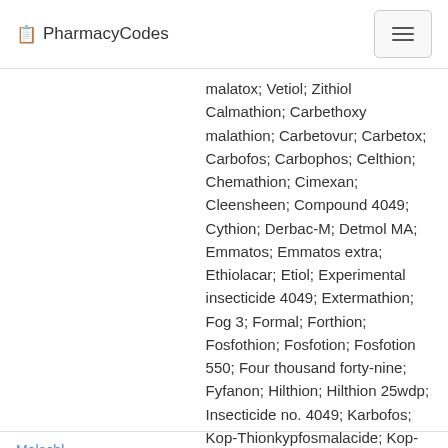PharmacyCodes
malatox; Vetiol; Zithiol Calmathion; Carbethoxy malathion; Carbetovur; Carbetox; Carbofos; Carbophos; Celthion; Chemathion; Cimexan; Cleensheen; Compound 4049; Cythion; Derbac-M; Detmol MA; Emmatos; Emmatos extra; Ethiolacar; Etiol; Experimental insecticide 4049; Extermathion; Fog 3; Formal; Forthion; Fosfothion; Fosfotion; Fosfotion 550; Four thousand forty-nine; Fyfanon; Hilthion; Hilthion 25wdp; Insecticide no. 4049; Karbofos; Kop-Thionkypfosmalacide; Kop-thion; Kypfos; Latka 4049; Lice Rid; MLT; Malacide; Malafor; Malagran; Malakill; Malamar;
Malachl...